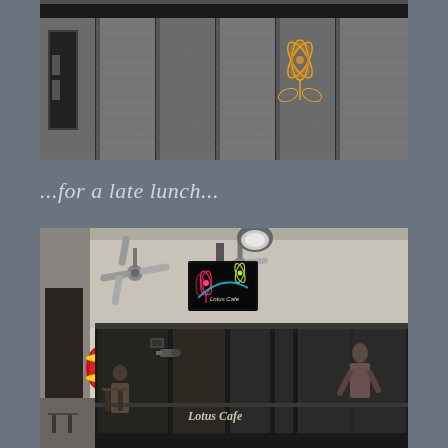[Figure (photo): Close-up photo of metallic mesh/screen shutters or blinds on a building facade, with a decorative neon lotus flower motif visible on the right side. Dark top border visible at top.]
...for a late lunch...
[Figure (photo): Exterior photo of Lotus Cafe restaurant. Shows a ceiling-mounted illuminated sign with colorful neon-style Lotus Cafe logo (lotus flowers in pink/red/yellow on black background). Ceiling fans visible, a red Chinese lantern on the left, glass shopfront windows with 'Lotus Cafe' text, and people visible inside and outside the cafe.]